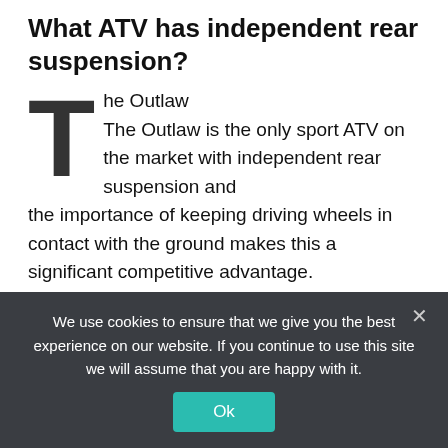What ATV has independent rear suspension?
The Outlaw
The Outlaw is the only sport ATV on the market with independent rear suspension and the importance of keeping driving wheels in contact with the ground makes this a significant competitive advantage.
What Honda ATVS have independent rear suspension?
We use cookies to ensure that we give you the best experience on our website. If you continue to use this site we will assume that you are happy with it.
Ok